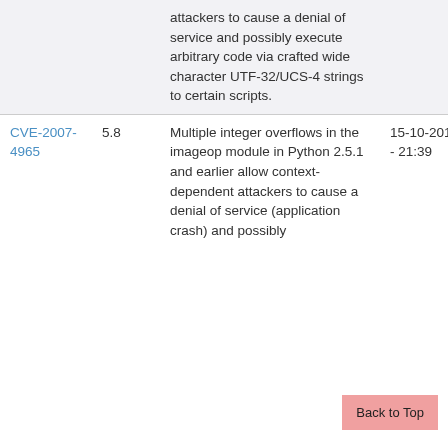| CVE | Score | Description | Date Modified | Date Published |
| --- | --- | --- | --- | --- |
|  |  | attackers to cause a denial of service and possibly execute arbitrary code via crafted wide character UTF-32/UCS-4 strings to certain scripts. |  |  |
| CVE-2007-4965 | 5.8 | Multiple integer overflows in the imageop module in Python 2.5.1 and earlier allow context-dependent attackers to cause a denial of service (application crash) and possibly | 15-10-2018 - 21:39 | 18-09-2007 - 22:17 |